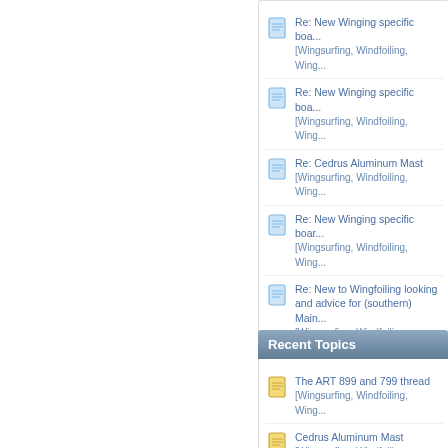Re: New Winging specific boa... [Wingsurfing, Windfoiling, Wing...]
Re: New Winging specific boa... [Wingsurfing, Windfoiling, Wing...]
Re: Cedrus Aluminum Mast [Wingsurfing, Windfoiling, Wing...]
Re: New Winging specific boar... [Wingsurfing, Windfoiling, Wing...]
Re: New to Wingfoiling looking and advice for (southern) Main... [Wingsurfing, Windfoiling, Wing...]
Recent Topics
The ART 899 and 799 thread [Wingsurfing, Windfoiling, Wing...]
Cedrus Aluminum Mast [Wingsurfing, Windfoiling, Wing...]
New Winging specific boards fr... [Wingsurfing, Windfoiling, Wing...]
New to Wingfoiling looking for ... advice for (southern) Maine...